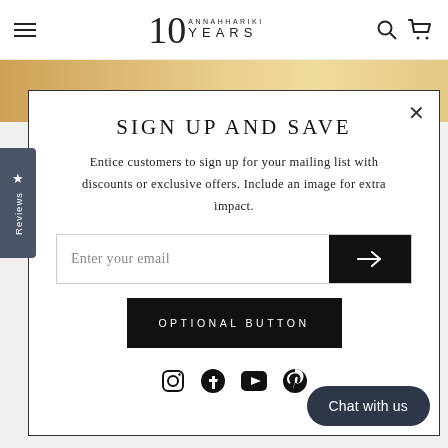10 ANNAHHARIKI YEARS — header with hamburger, logo, search, cart icons
[Figure (screenshot): Reviews sidebar tab with star icon]
SIGN UP AND SAVE
Entice customers to sign up for your mailing list with discounts or exclusive offers. Include an image for extra impact.
Enter your email [input field with arrow submit button]
OPTIONAL BUTTON
[Figure (infographic): Social media icons: Instagram, Facebook, YouTube, Pinterest]
Chat with us